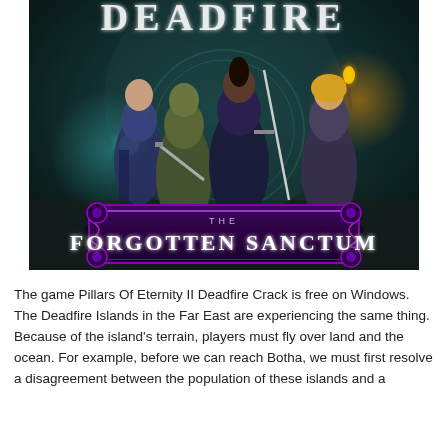[Figure (illustration): Game cover art for Pillars of Eternity II Deadfire - The Forgotten Sanctum DLC, showing three fantasy characters (a mage with glowing hand, a green-skinned warrior with sword, a dark-skinned warrior with sword, and a blonde character with torch) against a dark teal background with the title 'DEADFIRE' at top and 'THE FORGOTTEN SANCTUM' on a banner at the bottom.]
The game Pillars Of Eternity II Deadfire Crack is free on Windows. The Deadfire Islands in the Far East are experiencing the same thing. Because of the island's terrain, players must fly over land and the ocean. For example, before we can reach Botha, we must first resolve a disagreement between the population of these islands and a